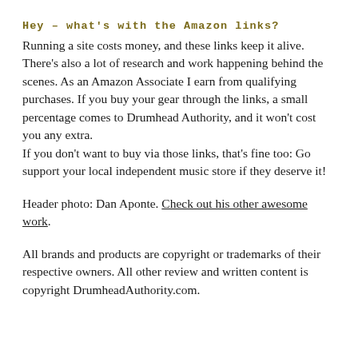Hey – what's with the Amazon links?
Running a site costs money, and these links keep it alive. There's also a lot of research and work happening behind the scenes. As an Amazon Associate I earn from qualifying purchases. If you buy your gear through the links, a small percentage comes to Drumhead Authority, and it won't cost you any extra.
If you don't want to buy via those links, that's fine too: Go support your local independent music store if they deserve it!
Header photo: Dan Aponte. Check out his other awesome work.
All brands and products are copyright or trademarks of their respective owners. All other review and written content is copyright DrumheadAuthority.com.